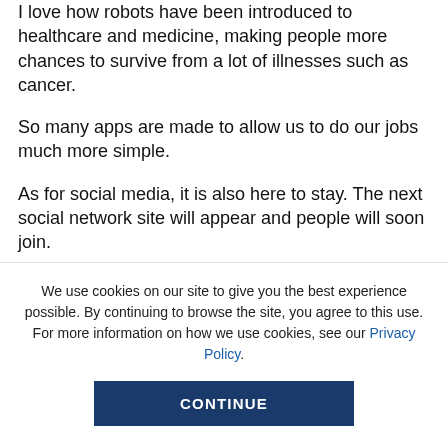I love how robots have been introduced to healthcare and medicine, making people more chances to survive from a lot of illnesses such as cancer.
So many apps are made to allow us to do our jobs much more simple.
As for social media, it is also here to stay. The next social network site will appear and people will soon join.
Right now, I am not sure how long I will use social...
We use cookies on our site to give you the best experience possible. By continuing to browse the site, you agree to this use. For more information on how we use cookies, see our Privacy Policy.